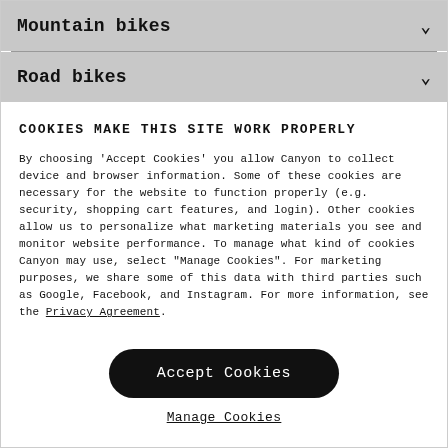Mountain bikes
Road bikes
COOKIES MAKE THIS SITE WORK PROPERLY
By choosing 'Accept Cookies' you allow Canyon to collect device and browser information. Some of these cookies are necessary for the website to function properly (e.g. security, shopping cart features, and login). Other cookies allow us to personalize what marketing materials you see and monitor website performance. To manage what kind of cookies Canyon may use, select "Manage Cookies". For marketing purposes, we share some of this data with third parties such as Google, Facebook, and Instagram. For more information, see the Privacy Agreement.
Accept Cookies
Manage Cookies